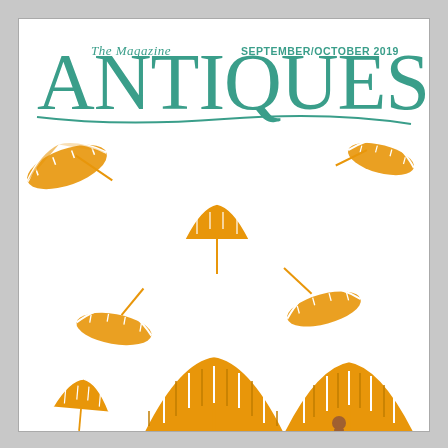[Figure (illustration): Magazine cover of The Magazine ANTIQUES, September/October 2019. Features large teal/green serif lettering 'ANTIQUES' with italic script 'The Magazine' above. The cover illustration shows multiple beach umbrellas in orange and white stripes — some blown upside down and tumbling as if caught in wind, scattered across a white background. At the bottom, larger upright umbrellas are clustered together, with a small figure visible beneath them.]